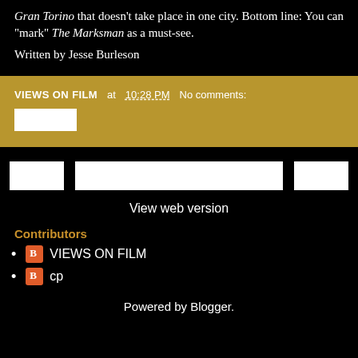Gran Torino that doesn't take place in one city. Bottom line: You can "mark" The Marksman as a must-see.
Written by Jesse Burleson
VIEWS ON FILM at 10:28 PM   No comments:
View web version
Contributors
VIEWS ON FILM
cp
Powered by Blogger.